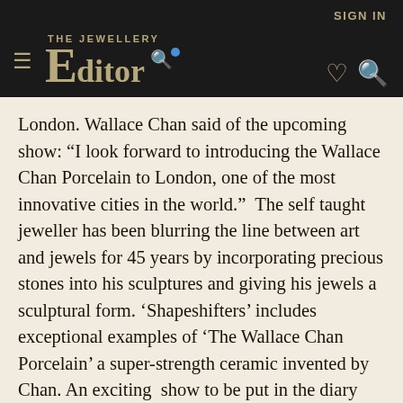THE JEWELLERY EDITOR | SIGN IN
London. Wallace Chan said of the upcoming show: “I look forward to introducing the Wallace Chan Porcelain to London, one of the most innovative cities in the world.”  The self taught jeweller has been blurring the line between art and jewels for 45 years by incorporating precious stones into his sculptures and giving his jewels a sculptural form. ‘Shapeshifters’ includes exceptional examples of ‘The Wallace Chan Porcelain’ a super-strength ceramic invented by Chan. An exciting  show to be put in the diary and not to be missed!
We use our own and third party cookies to improve your experience and our services. If you continue, we consider that you accept their use. You can get more information on your website at cookies policy.